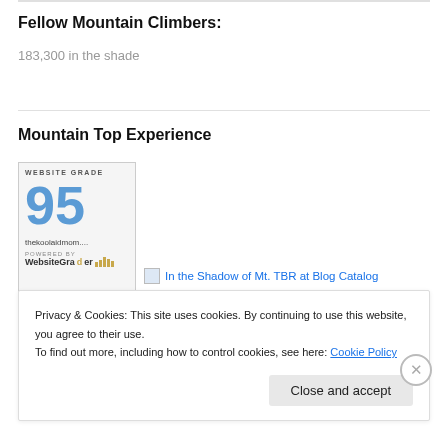Fellow Mountain Climbers:
183,300 in the shade
Mountain Top Experience
[Figure (other): WebsiteGrader widget showing WEBSITE GRADE 95 for thekoolaidmom.... powered by WebsiteGrader]
[Figure (other): In the Shadow of Mt. TBR at Blog Catalog link with icon]
Privacy & Cookies: This site uses cookies. By continuing to use this website, you agree to their use.
To find out more, including how to control cookies, see here: Cookie Policy
Close and accept